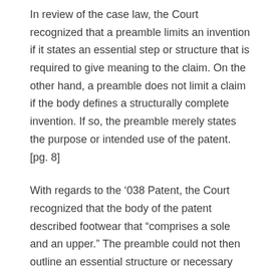In review of the case law, the Court recognized that a preamble limits an invention if it states an essential step or structure that is required to give meaning to the claim. On the other hand, a preamble does not limit a claim if the body defines a structurally complete invention. If so, the preamble merely states the purpose or intended use of the patent. [pg. 8]
With regards to the ‘038 Patent, the Court recognized that the body of the patent described footwear that “comprises a sole and an upper.” The preamble could not then outline an essential structure or necessary meaning to the invention since the